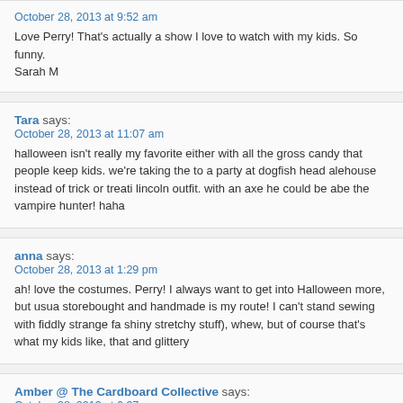October 28, 2013 at 9:52 am
Love Perry! That's actually a show I love to watch with my kids. So funny.
Sarah M
Tara says:
October 28, 2013 at 11:07 am
halloween isn't really my favorite either with all the gross candy that people keep kids. we're taking the to a party at dogfish head alehouse instead of trick or treati lincoln outfit. with an axe he could be abe the vampire hunter! haha
anna says:
October 28, 2013 at 1:29 pm
ah! love the costumes. Perry! I always want to get into Halloween more, but usua storebought and handmade is my route! I can't stand sewing with fiddly strange fa shiny stretchy stuff), whew, but of course that's what my kids like, that and glittery
Amber @ The Cardboard Collective says:
October 28, 2013 at 6:37 pm
I love the cardboard pieces you added! The top hat and ninja straps. They give th